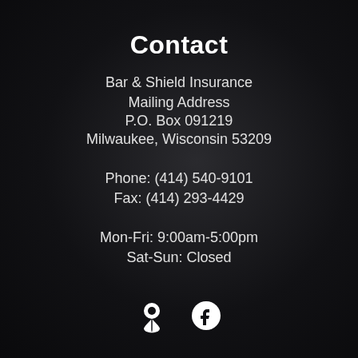Contact
Bar & Shield Insurance
Mailing Address
P.O. Box 091219
Milwaukee, Wisconsin 53209
Phone: (414) 540-9101
Fax: (414) 293-4429
Mon-Fri: 9:00am-5:00pm
Sat-Sun: Closed
[Figure (illustration): Two white icons: a map pin/location marker and a Facebook logo circle]